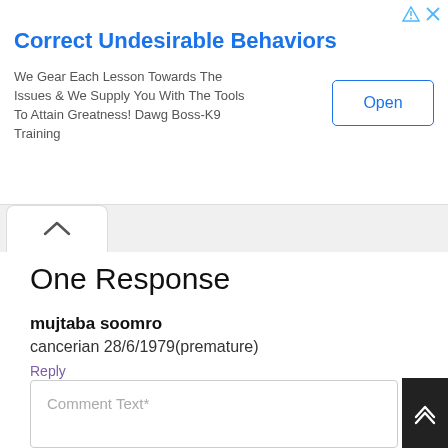[Figure (other): Advertisement banner: 'Correct Undesirable Behaviors' with body text 'We Gear Each Lesson Towards The Issues & We Supply You With The Tools To Attain Greatness! Dawg Boss-K9 Training' and an 'Open' button.]
One Response
mujtaba soomro
cancerian 28/6/1979(premature)
Reply
Leave a Reply
Comment Text*